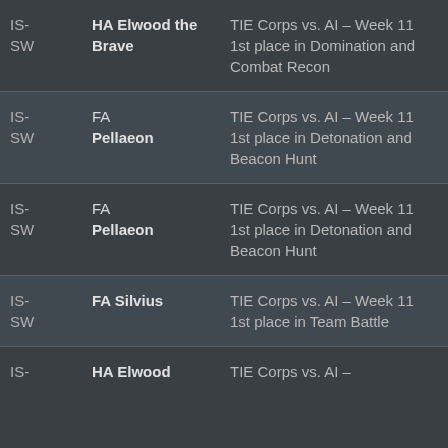| Type | Recipient | Reason | Date |
| --- | --- | --- | --- |
| IS-SW | HA Elwood the Brave | TIE Corps vs. AI – Week 11 1st place in Domination and Combat Recon | 2016-03-20 |
| IS-SW | FA Pellaeon | TIE Corps vs. AI – Week 11 1st place in Detonation and Beacon Hunt | 2016-03-20 |
| IS-SW | FA Pellaeon | TIE Corps vs. AI – Week 11 1st place in Detonation and Beacon Hunt | 2016-03-20 |
| IS-SW | FA Silvius | TIE Corps vs. AI – Week 11 1st place in Team Battle | 2016-03-20 |
| IS- | HA Elwood | TIE Corps vs. AI – | 2016- |